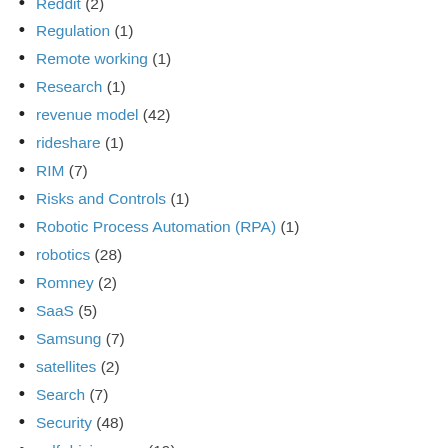Reddit (2)
Regulation (1)
Remote working (1)
Research (1)
revenue model (42)
rideshare (1)
RIM (7)
Risks and Controls (1)
Robotic Process Automation (RPA) (1)
robotics (28)
Romney (2)
SaaS (5)
Samsung (7)
satellites (2)
Search (7)
Security (48)
self driving cars (19)
Self driving vehicles (6)
Sentiment Analysis (22)
SEO (4)
Shazam (1)
siri (4)